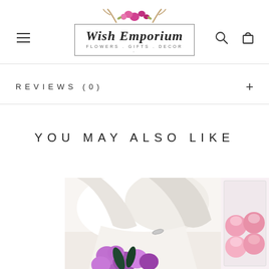Wish Emporium - FLOWERS.GIFTS.DECOR.
REVIEWS (0)
YOU MAY ALSO LIKE
[Figure (photo): A person in white clothing holding purple/pink roses bouquet wrapped in white paper, with a silver bracelet visible]
[Figure (photo): Pink roses in a clear acrylic box, partially visible on right edge]